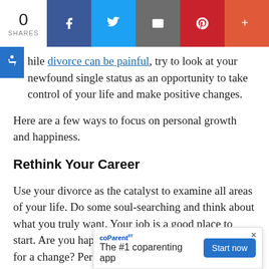0 SHARES | Facebook | Twitter | Email | Pinterest | More
While divorce can be painful, try to look at your newfound single status as an opportunity to take control of your life and make positive changes.
Here are a few ways to focus on personal growth and happiness.
Rethink Your Career
Use your divorce as the catalyst to examine all areas of your life. Do some soul-searching and think about what you truly want. Your job is a good place to start. Are you happy with what you do? Or, is it time for a change? Perhaps there is an alternative career path that you would enjoy more, such as student loans...
[Figure (screenshot): coParenter app popup banner with tagline 'The #1 coparenting app' and 'Start now' button]